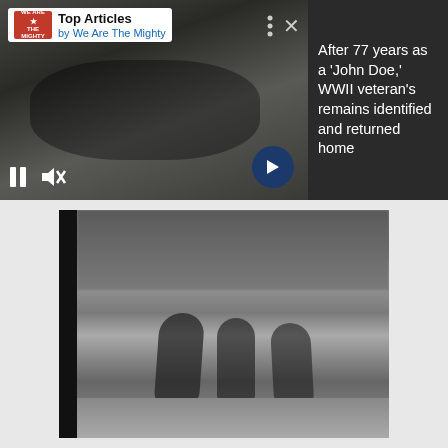[Figure (screenshot): Top section showing a video player with 'We Are The Mighty' logo, 'Top Articles by We Are The Mighty' header, media controls (pause, mute, arrow), and a dark panel with headline text about WWII veteran identification]
After 77 years as a 'John Doe,' WWII veteran's remains identified and returned home
[Figure (photo): Black and white photograph (film negative style) showing WWII soldiers in a field with trees in the background, with a dark film strip edge on the left side]